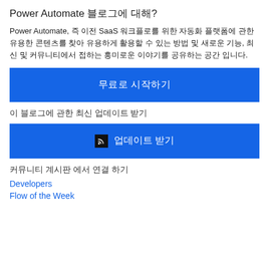Power Automate 블로그에 대해?
Power Automate, 즉 이전 SaaS 워크플로를 위한 자동화 플랫폼에 관한 유용한 콘텐츠를 찾아 유용하게 활용할 수 있는 방법 및 새로운 기능, 최신 및 커뮤니티에서 접하는 흥미로운 이야기를 공유하는 공간 입니다.
[Figure (screenshot): Blue button with Korean text '무료로 시작하기']
이 블로그에 관한 최신 업데이트 받기
[Figure (screenshot): Blue button with RSS icon and Korean text '업데이트 받기']
커뮤니티 계시판 에서 연결 하기
Developers
Flow of the Week